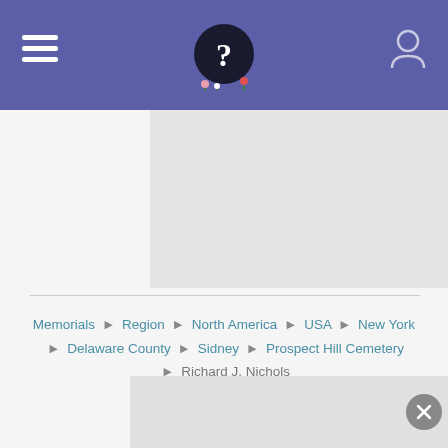Find a Grave navigation bar with logo
[Figure (screenshot): Gray placeholder image area]
Memorials › Region › North America › USA › New York › Delaware County › Sidney › Prospect Hill Cemetery › Richard J. Nichols
Created by: JTF
Added: 9 Mar 2012
Find a Grave Memorial ID: 86468476
Source citation
[Figure (screenshot): Bottom gray placeholder image area with close button]